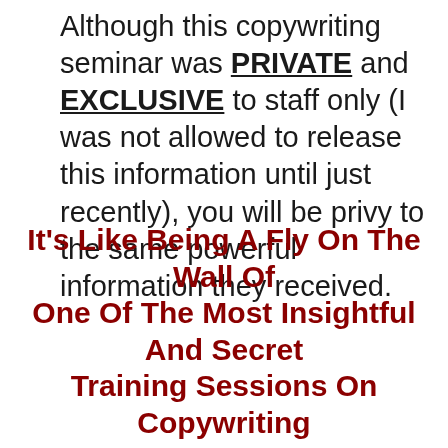Although this copywriting seminar was PRIVATE and EXCLUSIVE to staff only (I was not allowed to release this information until just recently), you will be privy to the same powerful information they received.
It's Like Being A Fly On The Wall Of One Of The Most Insightful And Secret Training Sessions On Copywriting That Has Ever Been Given